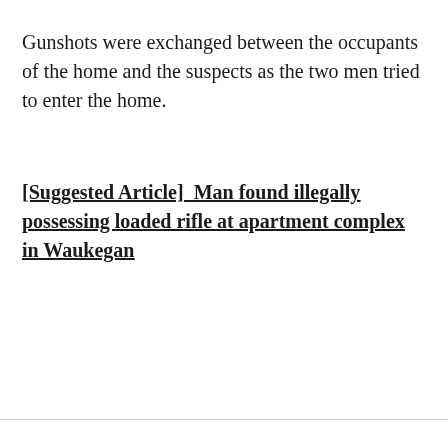Gunshots were exchanged between the occupants of the home and the suspects as the two men tried to enter the home.
[Suggested Article]  Man found illegally possessing loaded rifle at apartment complex in Waukegan